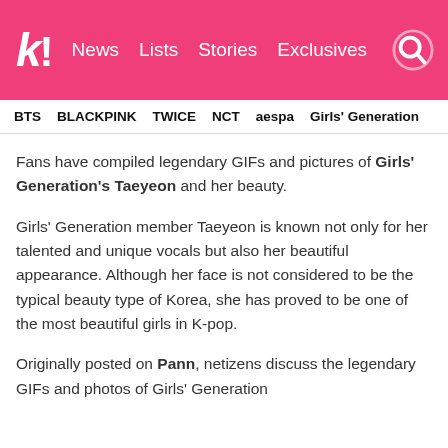koreaboo — News | Lists | Stories | Exclusives
BTS  BLACKPINK  TWICE  NCT  aespa  Girls' Generation
Fans have compiled legendary GIFs and pictures of Girls' Generation's Taeyeon and her beauty.
Girls' Generation member Taeyeon is known not only for her talented and unique vocals but also her beautiful appearance. Although her face is not considered to be the typical beauty type of Korea, she has proved to be one of the most beautiful girls in K-pop.
Originally posted on Pann, netizens discuss the legendary GIFs and photos of Girls' Generation